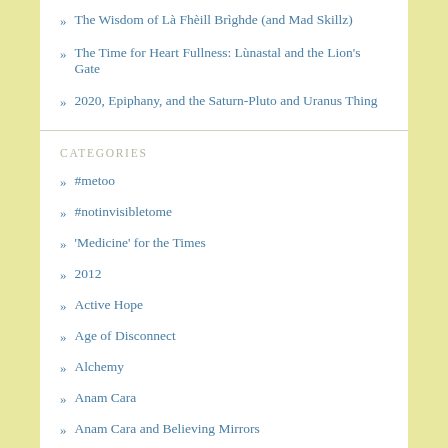The Wisdom of Là Fhèill Brìghde (and Mad Skillz)
The Time for Heart Fullness: Lùnastal and the Lion's Gate
2020, Epiphany, and the Saturn-Pluto and Uranus Thing
CATEGORIES
#metoo
#notinvisibletome
'Medicine' for the Times
2012
Active Hope
Age of Disconnect
Alchemy
Anam Cara
Anam Cara and Believing Mirrors